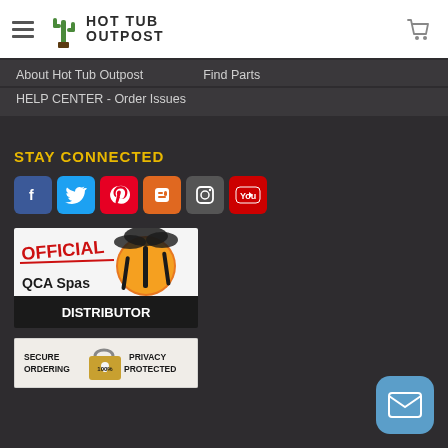[Figure (logo): Hot Tub Outpost logo with cactus icon and shopping cart icon in header]
About Hot Tub Outpost
Find Parts
HELP CENTER - Order Issues
STAY CONNECTED
[Figure (illustration): Row of social media icons: Facebook, Twitter, Pinterest, Blogger, Instagram, YouTube]
[Figure (illustration): Official QCA Spas Distributor badge with orange sun and palm tree graphic]
[Figure (illustration): Secure Ordering 100% Privacy Protected badge with padlock graphic]
[Figure (illustration): Blue rounded square button with white envelope/mail icon]